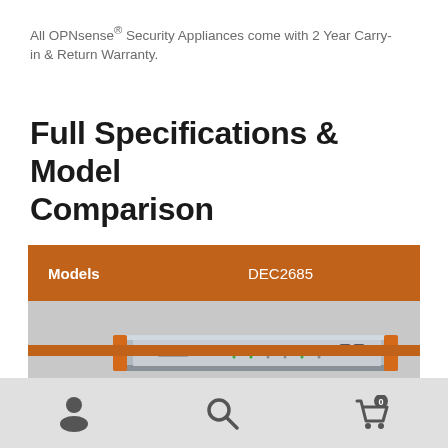All OPNsense® Security Appliances come with 2 Year Carry-in & Return Warranty.
Full Specifications & Model Comparison
| Models | DEC2685 |
| --- | --- |
|  | [product image] |